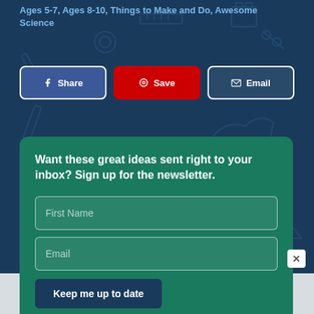Ages 5-7, Ages 8-10, Things to Make and Do, Awesome Science
Share
Save
Email
Want these great ideas sent right to your inbox? Sign up for the newsletter.
First Name
Email
Keep me up to date